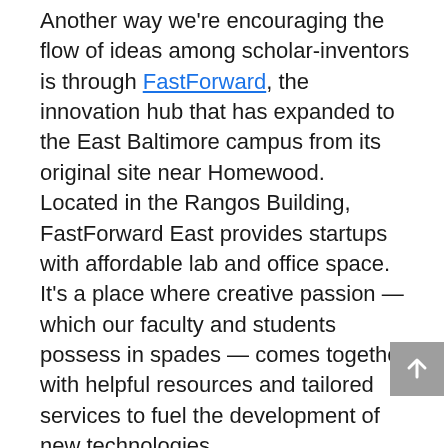Another way we're encouraging the flow of ideas among scholar-inventors is through FastForward, the innovation hub that has expanded to the East Baltimore campus from its original site near Homewood.  Located in the Rangos Building, FastForward East provides startups with affordable lab and office space. It's a place where creative passion — which our faculty and students possess in spades — comes together with helpful resources and tailored services to fuel the development of new technologies.
These efforts are starting to bear fruit. In 2014, the university secured 92 new U.S. patents and received 454 invention disclosures from faculty members, approximately 85 percent of which came from the school of medicine. Additionally, there were 13 new startups formed by scholars and their inst...